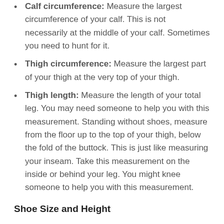Calf circumference: Measure the largest circumference of your calf. This is not necessarily at the middle of your calf. Sometimes you need to hunt for it.
Thigh circumference: Measure the largest part of your thigh at the very top of your thigh.
Thigh length: Measure the length of your total leg. You may need someone to help you with this measurement. Standing without shoes, measure from the floor up to the top of your thigh, below the fold of the buttock. This is just like measuring your inseam. Take this measurement on the inside or behind your leg. You might knee someone to help you with this measurement.
Shoe Size and Height